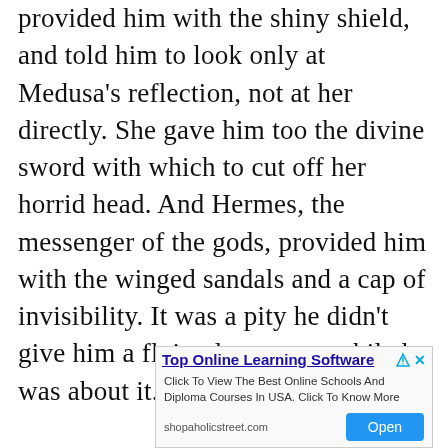provided him with the shiny shield, and told him to look only at Medusa's reflection, not at her directly. She gave him too the divine sword with which to cut off her horrid head. And Hermes, the messenger of the gods, provided him with the winged sandals and a cap of invisibility. It was a pity he didn't give him a flying lesson too while he was about it.

The main problem was that Perseus did not know where on earth to find the Gorgon ladies and Medusa. First off he flew to the lands of
[Figure (other): Advertisement banner for 'Top Online Learning Software' from shopaholicstreet.com with an Open button]